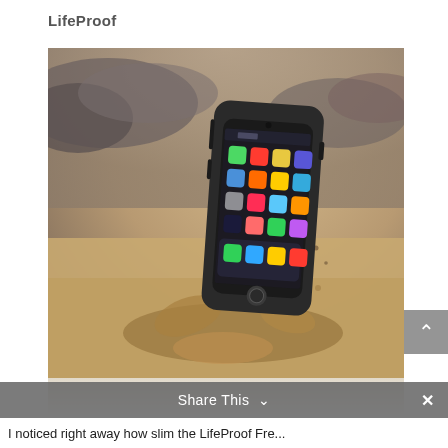LifeProof
[Figure (photo): iPhone in a protective LifeProof case splashing through muddy water with sandy/stormy background]
Share This
I noticed right away how slim the LifeProof Fre...